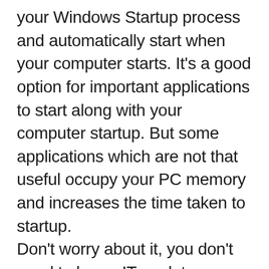your Windows Startup process and automatically start when your computer starts. It's a good option for important applications to start along with your computer startup. But some applications which are not that useful occupy your PC memory and increases the time taken to startup.
Don't worry about it, you don't need to be an IT geek to manage such startup programs. Microsoft Configuration tool comes to your rescue and helps you to enable or disable the programs which you